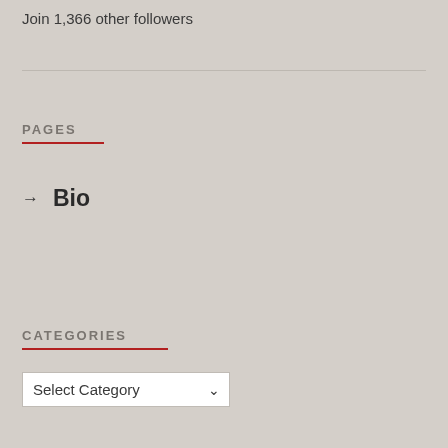Join 1,366 other followers
PAGES
→ Bio
CATEGORIES
Select Category